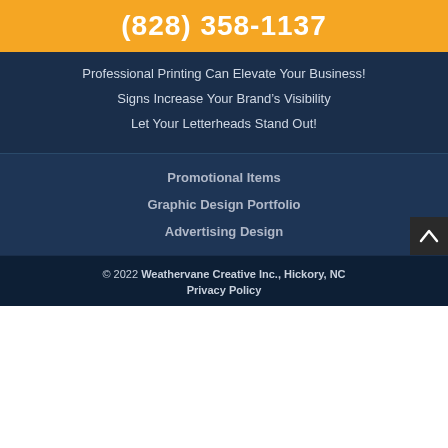(828) 358-1137
Professional Printing Can Elevate Your Business!
Signs Increase Your Brand's Visibility
Let Your Letterheads Stand Out!
Promotional Items
Graphic Design Portfolio
Advertising Design
© 2022 Weathervane Creative Inc., Hickory, NC Privacy Policy